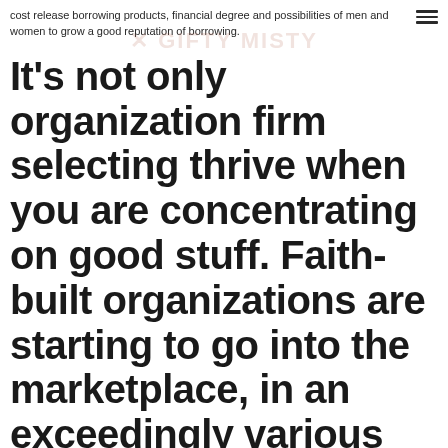cost release borrowing products, financial degree and possibilities of men and women to grow a good reputation of borrowing.
It’s not only organization firm selecting thrive when you are concentrating on good stuff. Faith-built organizations are starting to go into the marketplace, in an exceedingly various strategy.